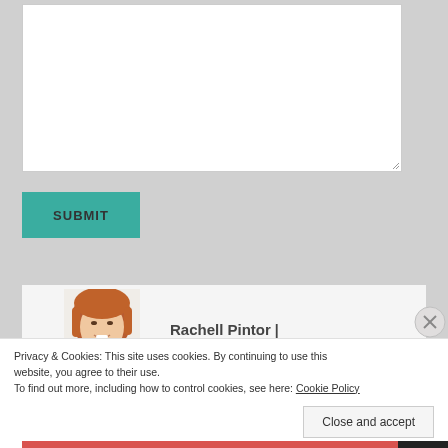[Figure (screenshot): A textarea input box with a resize handle in the bottom-right corner, on a light gray background.]
[Figure (screenshot): A teal/green Submit button with dark text.]
[Figure (photo): A partial photo of a woman with reddish-brown hair smiling, serving as an author avatar.]
Rachell Pintor |
Privacy & Cookies: This site uses cookies. By continuing to use this website, you agree to their use.
To find out more, including how to control cookies, see here: Cookie Policy
Close and accept